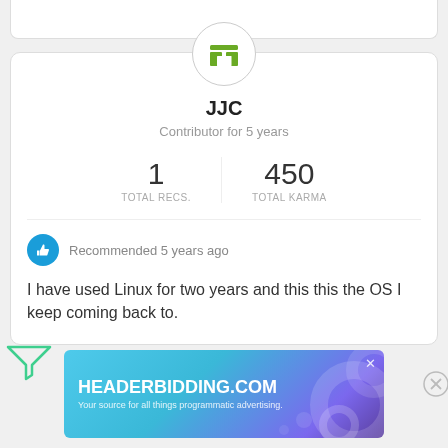[Figure (screenshot): Partial white card visible at top of screen]
[Figure (illustration): Circular avatar with green building/city icon]
JJC
Contributor for 5 years
| TOTAL RECS. | TOTAL KARMA |
| --- | --- |
| 1 | 450 |
Recommended 5 years ago
I have used Linux for two years and this this the OS I keep coming back to.
[Figure (infographic): Advertisement banner: HEADERBIDDING.COM — Your source for all things programmatic advertising.]